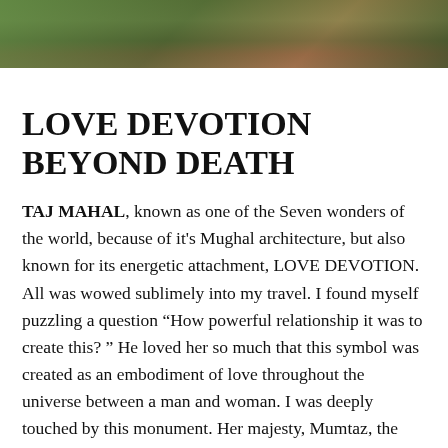[Figure (photo): Cropped photo strip showing a colorful scene, possibly a statue or figure with green and pink/red colors visible against a dark background]
LOVE DEVOTION BEYOND DEATH
TAJ MAHAL, known as one of the Seven wonders of the world, because of it's Mughal architecture, but also known for its energetic attachment, LOVE DEVOTION. All was wowed sublimely into my travel. I found myself puzzling a question “How powerful relationship it was to create this? “ He loved her so much that this symbol was created as an embodiment of love throughout the universe between a man and woman. I was deeply touched by this monument. Her majesty, Mumtaz, the last wife of the Mughal emperor, died during a time giving birth to their 14th child. My personal “wow”